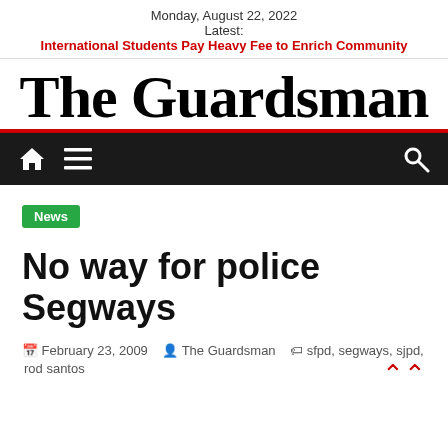Monday, August 22, 2022
Latest:
International Students Pay Heavy Fee to Enrich Community
The Guardsman
[Figure (other): Navigation bar with home icon, hamburger menu icon, and search icon on dark background]
News
No way for police Segways
February 23, 2009   The Guardsman   sfpd, segways, sjpd, rod santos